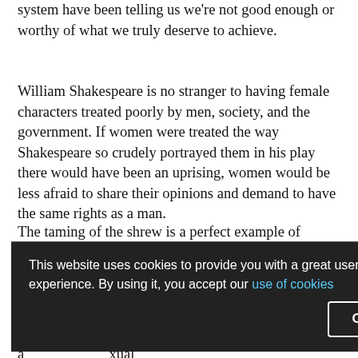system have been telling us we're not good enough or worthy of what we truly deserve to achieve.
William Shakespeare is no stranger to having female characters treated poorly by men, society, and the government. If women were treated the way Shakespeare so crudely portrayed them in his play there would have been an uprising, women would be less afraid to share their opinions and demand to have the same rights as a man.
The taming of the shrew is a perfect example of idolising the “toxic masculinity” used to control women as it encourages the outdated idea of male-dominance. In the past men were thought to be superior to women as men had a great influence over women. Today the Me too movement, a [xual] [aulted] [ng awareness] [nquer] inequality?
This website uses cookies to provide you with a great user experience. By using it, you accept our use of cookies